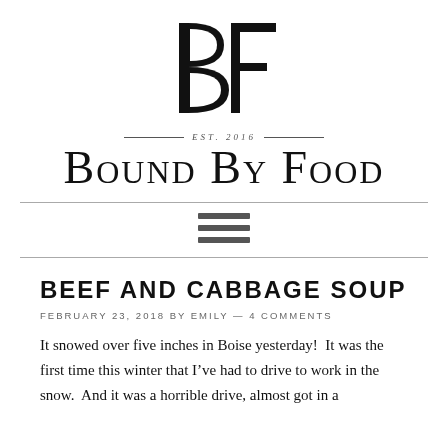[Figure (logo): BF monogram logo — stylized B and F letters combined in a serif typeface]
EST. 2016
Bound By Food
[Figure (other): Hamburger menu icon — three horizontal lines]
BEEF AND CABBAGE SOUP
FEBRUARY 23, 2018 BY EMILY — 4 COMMENTS
It snowed over five inches in Boise yesterday!  It was the first time this winter that I've had to drive to work in the snow.  And it was a horrible drive, almost got in a